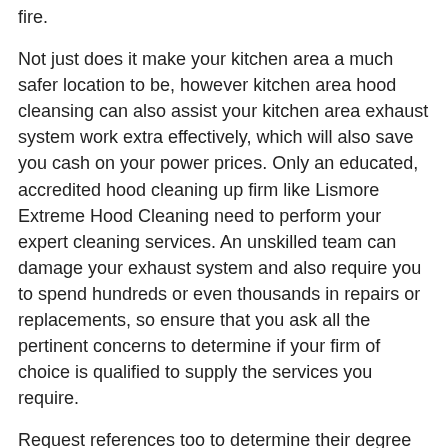fire.
Not just does it make your kitchen area a much safer location to be, however kitchen area hood cleansing can also assist your kitchen area exhaust system work extra effectively, which will also save you cash on your power prices. Only an educated, accredited hood cleaning up firm like Lismore Extreme Hood Cleaning need to perform your expert cleaning services. An unskilled team can damage your exhaust system and also require you to spend hundreds or even thousands in repairs or replacements, so ensure that you ask all the pertinent concerns to determine if your firm of choice is qualified to supply the services you require.
Request references too to determine their degree of client service. When you've done all the research study, you'll find that couple of business are as devoted to supplying the very best kitchen area hood cleaning services possible at affordable prices and also with excellent client service. It's no wonder that clients return to us time and again!